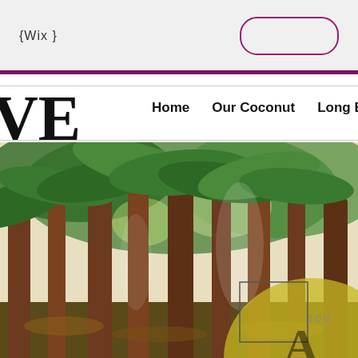{Wix }
Home   Our Coconut   Long B
VE
[Figure (photo): Coconut palm plantation with tall brown trunks and green fronds, sunlight filtering through, ground covered with fallen leaves and debris. Bottom right shows a partial yellow circular overlay with text '1 0 0' and a large letter 'A', plus a rectangular box outline.]